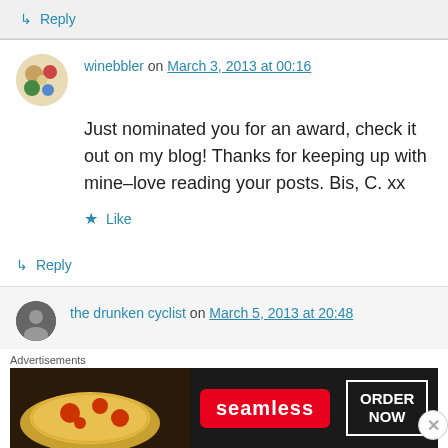↳ Reply
winebbler on March 3, 2013 at 00:16
Just nominated you for an award, check it out on my blog! Thanks for keeping up with mine–love reading your posts. Bis, C. xx
★ Like
↳ Reply
the drunken cyclist on March 5, 2013 at 20:48
Advertisements
[Figure (other): Seamless food delivery advertisement banner showing pizza with text ORDER NOW]